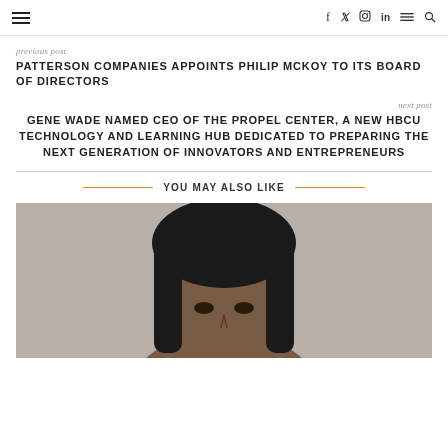≡  f  𝕏  ⊙  in  ≡  🔍
previous post
PATTERSON COMPANIES APPOINTS PHILIP MCKOY TO ITS BOARD OF DIRECTORS
next post
GENE WADE NAMED CEO OF THE PROPEL CENTER, A NEW HBCU TECHNOLOGY AND LEARNING HUB DEDICATED TO PREPARING THE NEXT GENERATION OF INNOVATORS AND ENTREPRENEURS
YOU MAY ALSO LIKE
[Figure (photo): Portrait photo of a woman with straight black hair against a gray background]